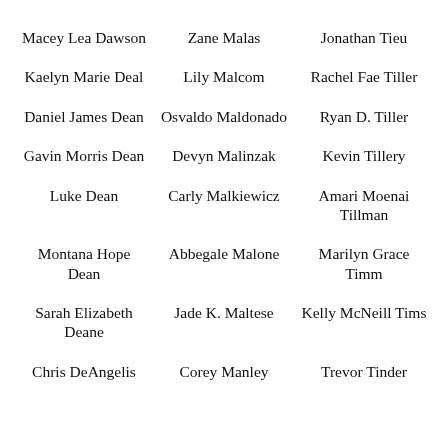Macey Lea Dawson
Zane Malas
Jonathan Tieu
Kaelyn Marie Deal
Lily Malcom
Rachel Fae Tiller
Daniel James Dean
Osvaldo Maldonado
Ryan D. Tiller
Gavin Morris Dean
Devyn Malinzak
Kevin Tillery
Luke Dean
Carly Malkiewicz
Amari Moenai Tillman
Montana Hope Dean
Abbegale Malone
Marilyn Grace Timm
Sarah Elizabeth Deane
Jade K. Maltese
Kelly McNeill Tims
Chris DeAngelis
Corey Manley
Trevor Tinder